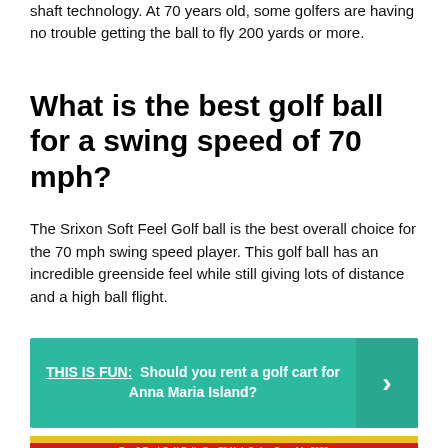shaft technology. At 70 years old, some golfers are having no trouble getting the ball to fly 200 yards or more.
What is the best golf ball for a swing speed of 70 mph?
The Srixon Soft Feel Golf ball is the best overall choice for the 70 mph swing speed player. This golf ball has an incredible greenside feel while still giving lots of distance and a high ball flight.
[Figure (infographic): Green banner with text: THIS IS FUN: Should you rent a golf cart for Anna Maria Island? with a right-arrow button on the right side.]
[Figure (infographic): Yellow and red banner at bottom: Top 6 Best Golf Balls For 70 Mph Swing Speed In 2022]